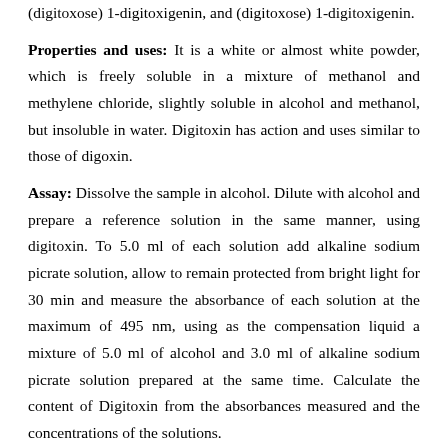(digitoxose) 1-digitoxigenin, and (digitoxose) 1-digitoxigenin.
Properties and uses: It is a white or almost white powder, which is freely soluble in a mixture of methanol and methylene chloride, slightly soluble in alcohol and methanol, but insoluble in water. Digitoxin has action and uses similar to those of digoxin.
Assay: Dissolve the sample in alcohol. Dilute with alcohol and prepare a reference solution in the same manner, using digitoxin. To 5.0 ml of each solution add alkaline sodium picrate solution, allow to remain protected from bright light for 30 min and measure the absorbance of each solution at the maximum of 495 nm, using as the compensation liquid a mixture of 5.0 ml of alcohol and 3.0 ml of alkaline sodium picrate solution prepared at the same time. Calculate the content of Digitoxin from the absorbances measured and the concentrations of the solutions.
Storage: It should be stored in well-closed airtight container and protected from light.